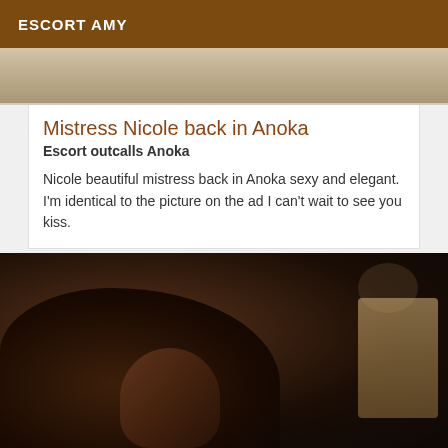ESCORT AMY
[Figure (photo): Top partial photo, light tan/beige tones, floor visible]
Mistress Nicole back in Anoka
Escort outcalls Anoka
Nicole beautiful mistress back in Anoka sexy and elegant. I'm identical to the picture on the ad I can't wait to see you kiss.
[Figure (photo): Dark blurry close-up photo with dark tones, person partially visible with wooden surface on right]